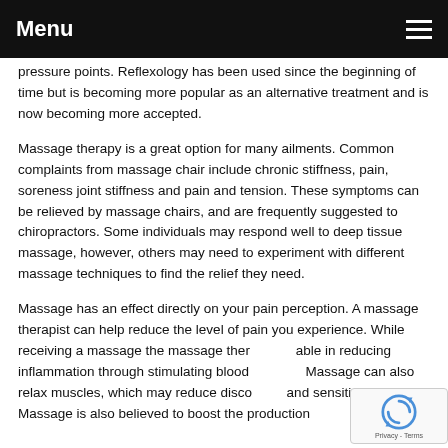Menu
pressure points. Reflexology has been used since the beginning of time but is becoming more popular as an alternative treatment and is now becoming more accepted.
Massage therapy is a great option for many ailments. Common complaints from massage chair include chronic stiffness, pain, soreness joint stiffness and pain and tension. These symptoms can be relieved by massage chairs, and are frequently suggested to chiropractors. Some individuals may respond well to deep tissue massage, however, others may need to experiment with different massage techniques to find the relief they need.
Massage has an effect directly on your pain perception. A massage therapist can help reduce the level of pain you experience. While receiving a massage the massage therapist is able in reducing inflammation through stimulating blood vessels. Massage can also relax muscles, which may reduce discomfort and sensitivity. Massage is also believed to boost the production